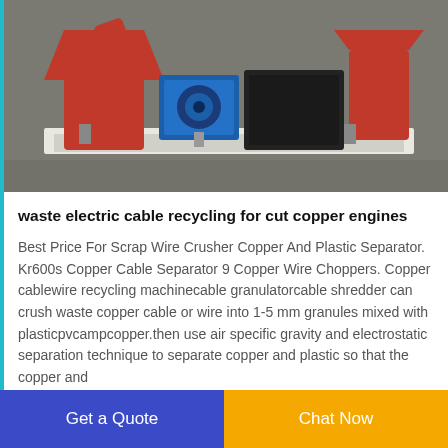[Figure (photo): Industrial waste electric cable recycling machine with red metal components, blue motor, and black housing mounted on a white platform base, photographed in a workshop/factory setting.]
waste electric cable recycling for cut copper engines
Best Price For Scrap Wire Crusher Copper And Plastic Separator. Kr600s Copper Cable Separator 9 Copper Wire Choppers. Copper cablewire recycling machinecable granulatorcable shredder can crush waste copper cable or wire into 1-5 mm granules mixed with plasticpvcampcopper.then use air specific gravity and electrostatic separation technique to separate copper and plastic so that the copper and